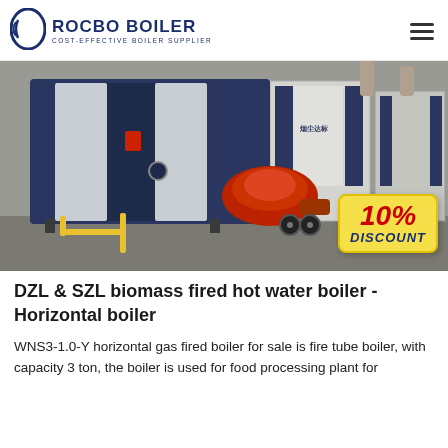ROCBO BOILER - COST-EFFECTIVE BOILER SUPPLIER
[Figure (photo): Industrial horizontal gas fired boiler (WNS3-1.0-Y) displayed in a factory/warehouse setting, with a red burner and yellow gas pipes visible. A 10% DISCOUNT badge is overlaid in the lower right corner of the image.]
DZL & SZL biomass fired hot water boiler - Horizontal boiler
WNS3-1.0-Y horizontal gas fired boiler for sale is fire tube boiler, with capacity 3 ton, the boiler is used for food processing plant for